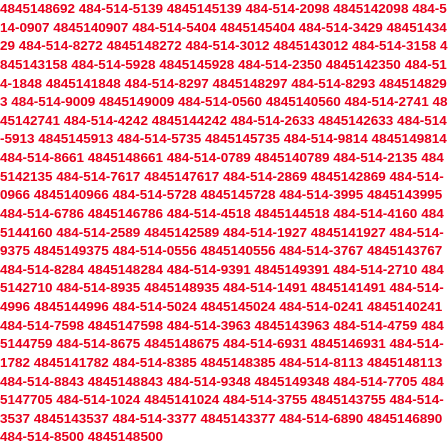4845148692 484-514-5139 4845145139 484-514-2098 4845142098 484-514-0907 4845140907 484-514-5404 4845145404 484-514-3429 4845143429 484-514-8272 4845148272 484-514-3012 4845143012 484-514-3158 4845143158 484-514-5928 4845145928 484-514-2350 4845142350 484-514-1848 4845141848 484-514-8297 4845148297 484-514-8293 4845148293 484-514-9009 4845149009 484-514-0560 4845140560 484-514-2741 4845142741 484-514-4242 4845144242 484-514-2633 4845142633 484-514-5913 4845145913 484-514-5735 4845145735 484-514-9814 4845149814 484-514-8661 4845148661 484-514-0789 4845140789 484-514-2135 4845142135 484-514-7617 4845147617 484-514-2869 4845142869 484-514-0966 4845140966 484-514-5728 4845145728 484-514-3995 4845143995 484-514-6786 4845146786 484-514-4518 4845144518 484-514-4160 4845144160 484-514-2589 4845142589 484-514-1927 4845141927 484-514-9375 4845149375 484-514-0556 4845140556 484-514-3767 4845143767 484-514-8284 4845148284 484-514-9391 4845149391 484-514-2710 4845142710 484-514-8935 4845148935 484-514-1491 4845141491 484-514-4996 4845144996 484-514-5024 4845145024 484-514-0241 4845140241 484-514-7598 4845147598 484-514-3963 4845143963 484-514-4759 4845144759 484-514-8675 4845148675 484-514-6931 4845146931 484-514-1782 4845141782 484-514-8385 4845148385 484-514-8113 4845148113 484-514-8843 4845148843 484-514-9348 4845149348 484-514-7705 4845147705 484-514-1024 4845141024 484-514-3755 4845143755 484-514-3537 4845143537 484-514-3377 4845143377 484-514-6890 4845146890 484-514-8500 4845148500